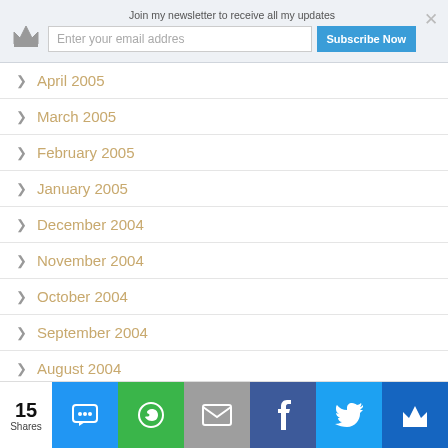Join my newsletter to receive all my updates
Enter your email addres  Subscribe Now
April 2005
March 2005
February 2005
January 2005
December 2004
November 2004
October 2004
September 2004
August 2004
July 2004
15 Shares  [SMS] [WhatsApp] [Email] [Facebook] [Twitter] [Crown]